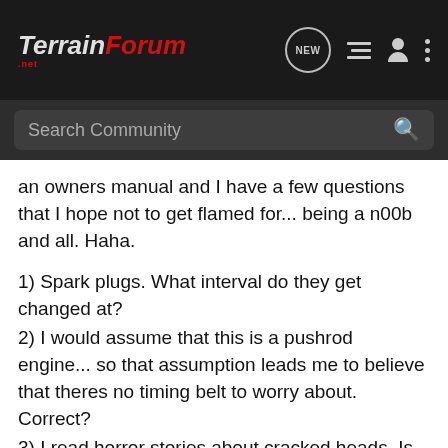TERRAIN FORUM .NET
an owners manual and I have a few questions that I hope not to get flamed for... being a n00b and all. Haha.
1) Spark plugs. What interval do they get changed at?
2) I would assume that this is a pushrod engine... so that assumption leads me to believe that theres no timing belt to worry about. Correct?
3) I read horror stories about cracked heads. Is that a common thing or just a rarity that seems larger than it really is due to a few disgruntled customers?
4) How much of a pain is it to reseal the headlights? My right light is retaining moisture.
5) What interval is the transmission fluid supposed to be changed? I dont even see a dipstick to check the condition.